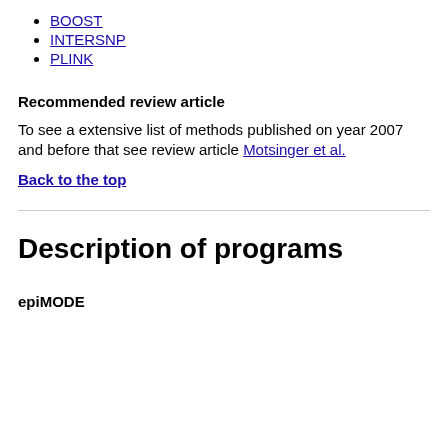BOOST
INTERSNP
PLINK
Recommended review article
To see a extensive list of methods published on year 2007 and before that see review article Motsinger et al.
Back to the top
Description of programs
epiMODE